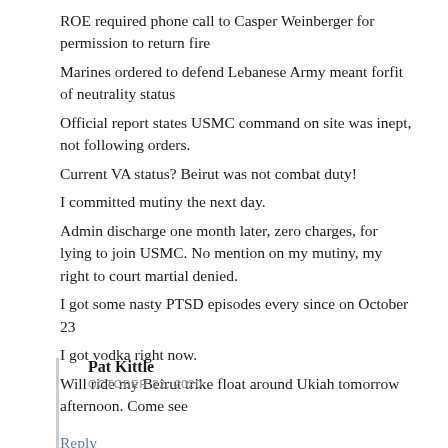ROE required phone call to Casper Weinberger for permission to return fire
Marines ordered to defend Lebanese Army meant forfit of neutrality status
Official report states USMC command on site was inept, not following orders.
Current VA status? Beirut was not combat duty!
I committed mutiny the next day.
Admin discharge one month later, zero charges, for lying to join USMC. No mention on my mutiny, my right to court martial denied.
I got some nasty PTSD episodes every since on October 23
I got vodka right now.
Will ride my Beirut trike float around Ukiah tomorrow afternoon. Come see
Reply
Pat Kittle
OCTOBER 22, 2020